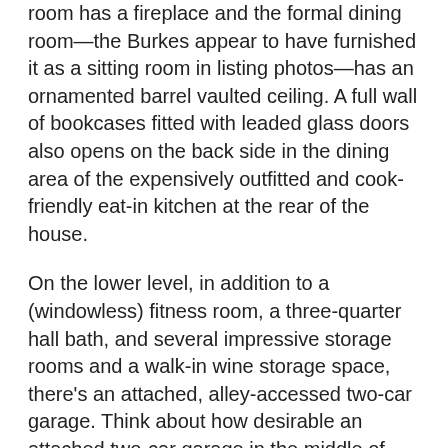room has a fireplace and the formal dining room—the Burkes appear to have furnished it as a sitting room in listing photos—has an ornamented barrel vaulted ceiling. A full wall of bookcases fitted with leaded glass doors also opens on the back side in the dining area of the expensively outfitted and cook-friendly eat-in kitchen at the rear of the house.
On the lower level, in addition to a (windowless) fitness room, a three-quarter hall bath, and several impressive storage rooms and a walk-in wine storage space, there's an attached, alley-accessed two-car garage. Think about how desirable an attached two-car garage in the middle of downtown Philadelphia is to a wealthy, city-dwelling Philadelphian who prefers their own Mercedes or Maserati to the SEPTA. Anyways...
A bedroom-sized, bookcase-lined, and all-paneled library plus a larger family room (with fireplace) and a compact half bathroom in the hallway share the roomy row house's second floor with the master suite. The decent-sized but hardly huge master bedroom has a fireplace and direct access to a private deck. There's also a fitted walk-in